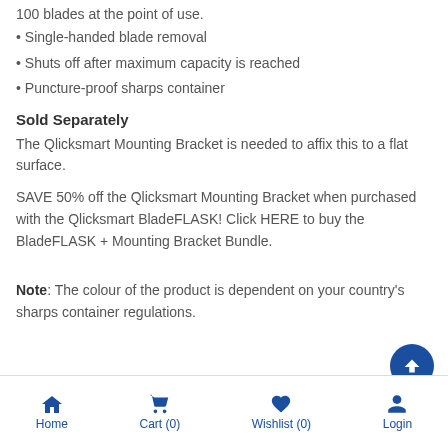100 blades at the point of use.
• Single-handed blade removal
• Shuts off after maximum capacity is reached
• Puncture-proof sharps container
Sold Separately
The Qlicksmart Mounting Bracket is needed to affix this to a flat surface.
SAVE 50% off the Qlicksmart Mounting Bracket when purchased with the Qlicksmart BladeFLASK! Click HERE to buy the BladeFLASK + Mounting Bracket Bundle.
Note: The colour of the product is dependent on your country's sharps container regulations.
Home  Cart (0)  Wishlist (0)  Login